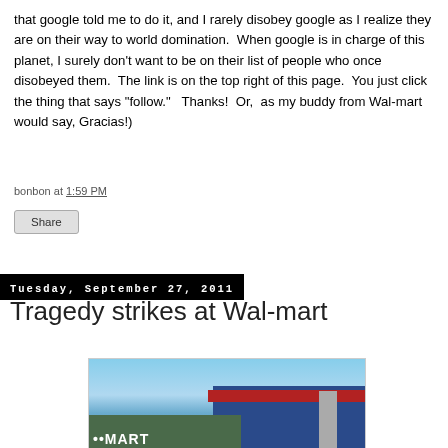that google told me to do it, and I rarely disobey google as I realize they are on their way to world domination.  When google is in charge of this planet, I surely don't want to be on their list of people who once disobeyed them.  The link is on the top right of this page.  You just click the thing that says "follow."   Thanks!  Or,  as my buddy from Wal-mart would say, Gracias!)
bonbon at 1:59 PM
Share
Tuesday, September 27, 2011
Tragedy strikes at Wal-mart
[Figure (photo): Exterior photo of a Walmart store showing the blue building facade with red stripe and Walmart signage against a partly cloudy sky]